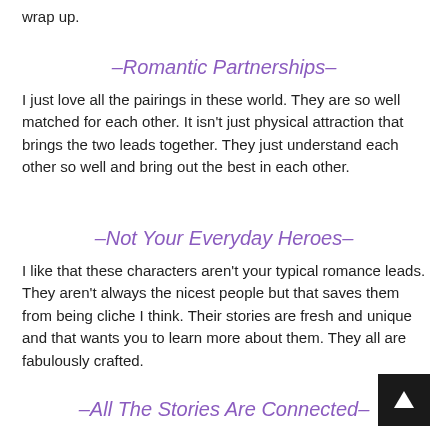wrap up.
–Romantic Partnerships–
I just love all the pairings in these world. They are so well matched for each other. It isn't just physical attraction that brings the two leads together. They just understand each other so well and bring out the best in each other.
–Not Your Everyday Heroes–
I like that these characters aren't your typical romance leads. They aren't always the nicest people but that saves them from being cliche I think. Their stories are fresh and unique and that wants you to learn more about them. They all are fabulously crafted.
–All The Stories Are Connected–